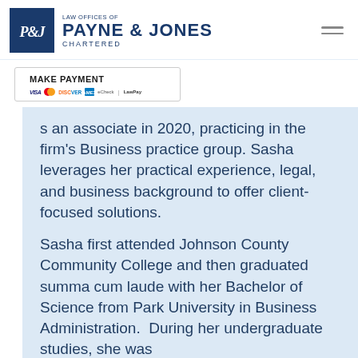LAW OFFICES OF PAYNE & JONES CHARTERED
[Figure (logo): Payne & Jones Chartered law firm logo with blue square containing P&J monogram and firm name text]
MAKE PAYMENT [payment icons: VISA, Mastercard, Discover, Amex, eCheck, LawPay]
associate in 2020, practicing in the firm's Business practice group. Sasha leverages her practical experience, legal, and business background to offer client-focused solutions.
Sasha first attended Johnson County Community College and then graduated summa cum laude with her Bachelor of Science from Park University in Business Administration.  During her undergraduate studies, she was